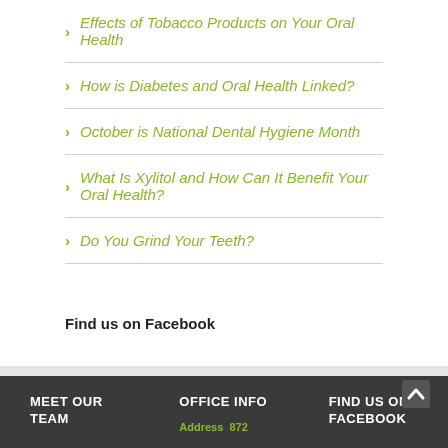Effects of Tobacco Products on Your Oral Health
How is Diabetes and Oral Health Linked?
October is National Dental Hygiene Month
What Is Xylitol and How Can It Benefit Your Oral Health?
Do You Grind Your Teeth?
Find us on Facebook
MEET OUR TEAM   OFFICE INFO   FIND US ON FACEBOOK   Address  872...